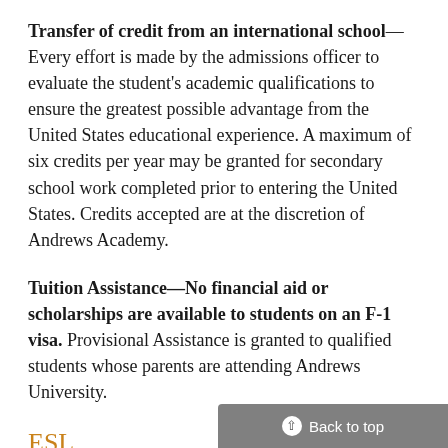Transfer of credit from an international school—Every effort is made by the admissions officer to evaluate the student's academic qualifications to ensure the greatest possible advantage from the United States educational experience. A maximum of six credits per year may be granted for secondary school work completed prior to entering the United States. Credits accepted are at the discretion of Andrews Academy.
Tuition Assistance—No financial aid or scholarships are available to students on an F-1 visa. Provisional Assistance is granted to qualified students whose parents are attending Andrews University.
ESL
International students planning to study at Andrews Academy for only one year should understand that limited English proficiency will limit the subjects that they will be able to take. Generally speaking, English...